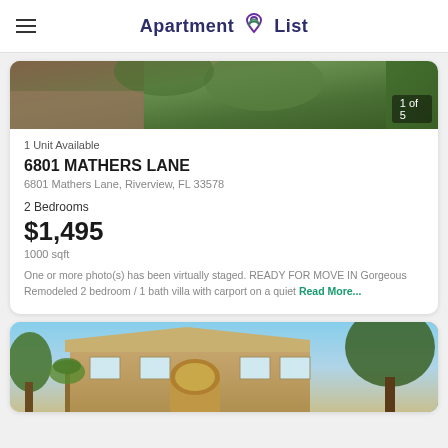Apartment List
[Figure (photo): Exterior photo of property with trees and greenery, counter showing 1 of 5]
1 Unit Available
6801 MATHERS LANE
6801 Mathers Lane, Riverview, FL 33578
2 Bedrooms
$1,495
1000 sqft
One or more photo(s) has been virtually staged. READY FOR MOVE IN Gorgeous Remodeled 2 bedroom / 1 bath villa with carport on a quiet Read More...
[Figure (photo): Exterior photo of a two-story beige/tan house with arched entry, palm trees, and large oak tree]